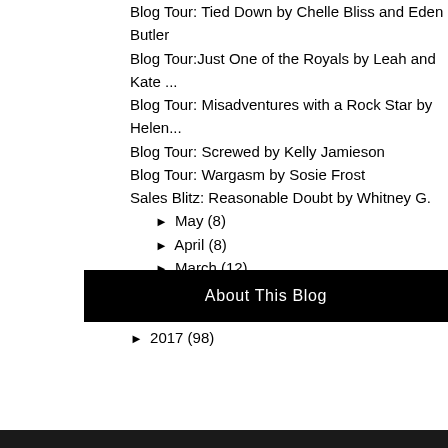Blog Tour: Tied Down by Chelle Bliss and Eden Butler
Blog Tour:Just One of the Royals by Leah and Kate ...
Blog Tour: Misadventures with a Rock Star by Helen...
Blog Tour: Screwed by Kelly Jamieson
Blog Tour: Wargasm by Sosie Frost
Sales Blitz: Reasonable Doubt by Whitney G.
► May (8)
► April (8)
► March (12)
► February (23)
► January (19)
► 2017 (98)
About This Blog